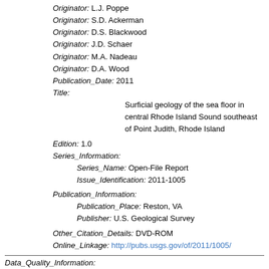Originator: L.J. Poppe
Originator: S.D. Ackerman
Originator: D.S. Blackwood
Originator: J.D. Schaer
Originator: M.A. Nadeau
Originator: D.A. Wood
Publication_Date: 2011
Title: Surficial geology of the sea floor in central Rhode Island Sound southeast of Point Judith, Rhode Island
Edition: 1.0
Series_Information:
Series_Name: Open-File Report
Issue_Identification: 2011-1005
Publication_Information:
Publication_Place: Reston, VA
Publisher: U.S. Geological Survey
Other_Citation_Details: DVD-ROM
Online_Linkage: http://pubs.usgs.gov/of/2011/1005/
Data_Quality_Information: